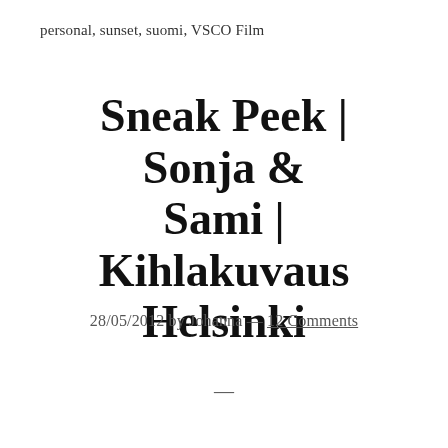personal, sunset, suomi, VSCO Film
Sneak Peek | Sonja & Sami | Kihlakuvaus Helsinki
28/05/2012 by Johanna — 12 Comments
—